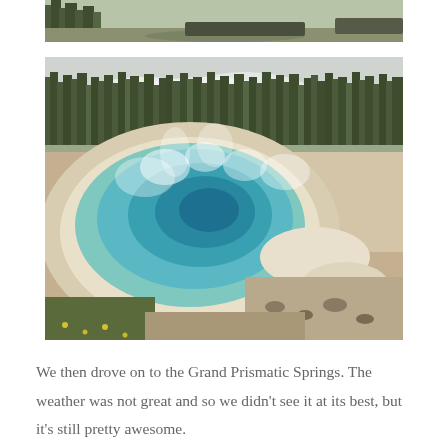[Figure (photo): Partial top photo showing trees and rocky terrain at what appears to be Yellowstone]
[Figure (photo): Grand Prismatic Spring at Yellowstone National Park. A large turquoise-blue hot spring pool surrounded by white mineral deposits and sandy/rocky ground. Steam rises from the water. Pine trees and overcast sky visible in background.]
We then drove on to the Grand Prismatic Springs. The weather was not great and so we didn't see it at its best, but it's still pretty awesome.